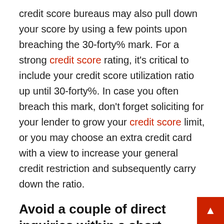credit score bureaus may also pull down your score by using a few points upon breaching the 30-forty% mark. For a strong credit score rating, it's critical to include your credit score utilization ratio up until 30-forty%. In case you often breach this mark, don't forget soliciting for your lender to grow your credit score limit, or you may choose an extra credit card with a view to increase your general credit restriction and subsequently carry down the ratio.
Avoid a couple of direct inquiries within a short period.
No, remember how urgently you want finances; bombarding numerous creditors with multiple mortgage or credit score card inquiries is never the right direction of motion to take. Remember that you follow for any credit on every occasion, the lender pulls out your credit